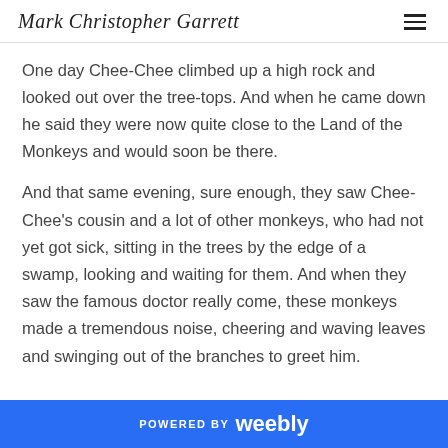Mark Christopher Garrett
One day Chee-Chee climbed up a high rock and looked out over the tree-tops. And when he came down he said they were now quite close to the Land of the Monkeys and would soon be there.
And that same evening, sure enough, they saw Chee-Chee's cousin and a lot of other monkeys, who had not yet got sick, sitting in the trees by the edge of a swamp, looking and waiting for them. And when they saw the famous doctor really come, these monkeys made a tremendous noise, cheering and waving leaves and swinging out of the branches to greet him.
POWERED BY weebly